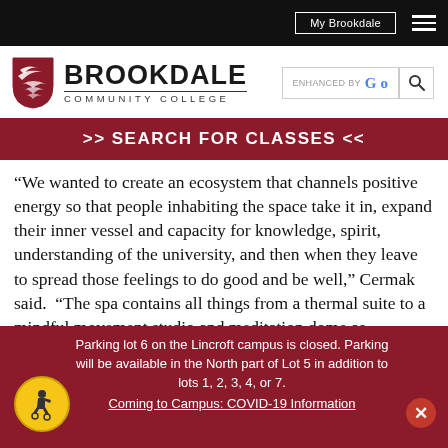My Brookdale [navigation button] [hamburger menu]
[Figure (logo): Brookdale Community College shield logo in red with white chevrons, next to text BROOKDALE COMMUNITY COLLEGE in black]
[Figure (screenshot): Search box with ENHANCED BY Go label and search icon]
>> SEARCH FOR CLASSES <<
“We wanted to create an ecosystem that channels positive energy so that people inhabiting the space take it in, expand their inner vessel and capacity for knowledge, spirit, understanding of the university, and then when they leave to spread those feelings to do good and be well,” Cermak said.  “The spa contains all things from a thermal suite to a mindful movement studio and meditation dome as
Parking lot 6 on the Lincroft campus is closed. Parking will be available in the North part of Lot 5 in addition to lots 1, 2, 3, 4, or 7.
Coming to Campus: COVID-19 Information